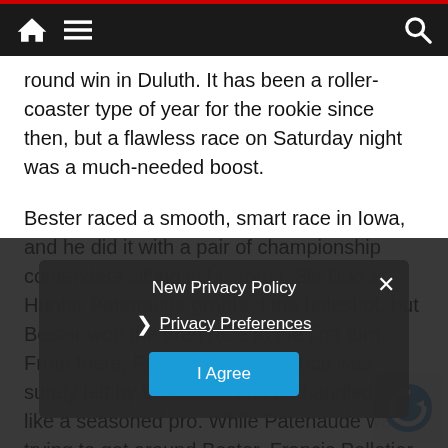Navigation bar with home, menu, and search icons
round win in Duluth. It has been a roller-coaster type of year for the rookie since then, but a flawless race on Saturday night was a much-needed boost.
Bester raced a smooth, smart race in Iowa, and he did it with a pair of championship contenders sitting in his roost. Ski Doo's Hunter Patenaude grabbed the holeshot, but Bester won the drag race to the first turn. From there, Patenaude's presence was surely felt by the rookie and he handled it like a seasoned pro. While Patenaude was trying to get around Bester, Francis Pelletier was thrashing his way towards the leaders. A back-row start didn't discourage Pelletier since he had to get to the front to keep pace with Patenaude in the season points chase.
New Privacy Policy
Privacy Preferences
I Agree